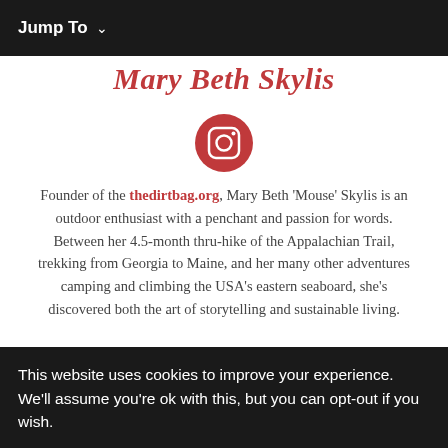Jump To ˅
Mary Beth Skylis
[Figure (logo): Instagram icon — red/coral circle with a white camera outline inside]
Founder of the thedirtbag.org, Mary Beth 'Mouse' Skylis is an outdoor enthusiast with a penchant and passion for words. Between her 4.5-month thru-hike of the Appalachian Trail, trekking from Georgia to Maine, and her many other adventures camping and climbing the USA's eastern seaboard, she's discovered both the art of storytelling and sustainable living.
This website uses cookies to improve your experience. We'll assume you're ok with this, but you can opt-out if you wish.